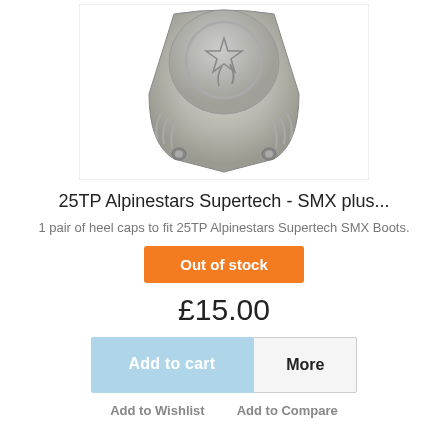[Figure (photo): Silver metallic heel cap with embossed Alpinestars logo (star figure), trapezoidal shape with screw holes on bottom corners and decorative ridges.]
25TP Alpinestars Supertech - SMX plus...
1 pair of heel caps to fit 25TP Alpinestars Supertech SMX Boots.
Out of stock
£15.00
Add to cart
More
Add to Wishlist    Add to Compare